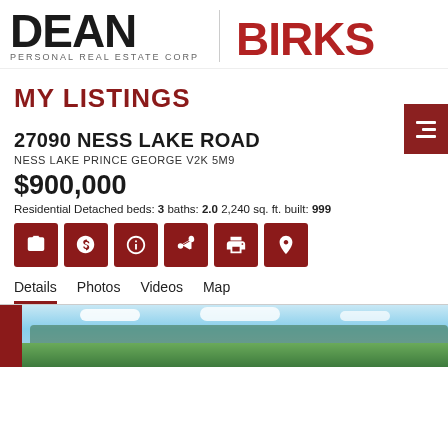[Figure (logo): Dean Birks Personal Real Estate Corp logo — DEAN in black large sans-serif with 'PERSONAL REAL ESTATE CORP' subtitle, BIRKS in large red sans-serif]
MY LISTINGS
27090 NESS LAKE ROAD
NESS LAKE PRINCE GEORGE V2K 5M9
$900,000
Residential Detached beds: 3 baths: 2.0 2,240 sq. ft. built: 999
[Figure (infographic): Row of 6 dark red square icon buttons: camera, dollar sign, info circle, share/less-than, printer, map pin]
Details | Photos | Videos | Map (tab navigation, Details active/underlined)
[Figure (photo): Landscape photo showing open field with trees in background under blue sky with white clouds]